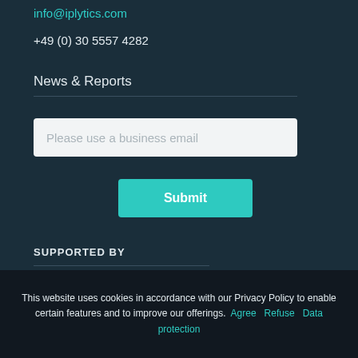info@iplytics.com
+49 (0) 30 5557 4282
News & Reports
Please use a business email
Submit
SUPPORTED BY
[Figure (logo): EU flag with blue background and yellow stars]
This website uses cookies in accordance with our Privacy Policy to enable certain features and to improve our offerings. Agree Refuse Data protection